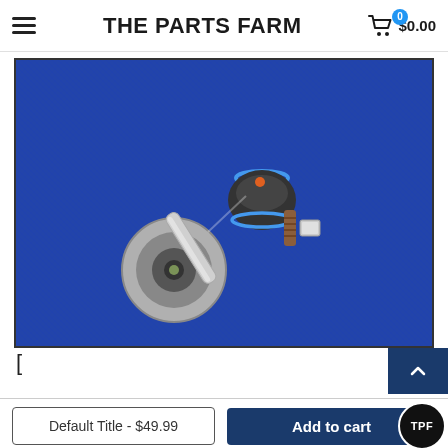THE PARTS FARM  $0.00
[Figure (photo): A metal sway bar end link / tie rod link component with a ball joint and bushing assembly, photographed on a blue textile background. The part has a silver metal rod with a round bushing mount at one end and a ball joint with rubber boot at the other end, along with a bolt and fastener.]
[
Default Title - $49.99
Add to cart